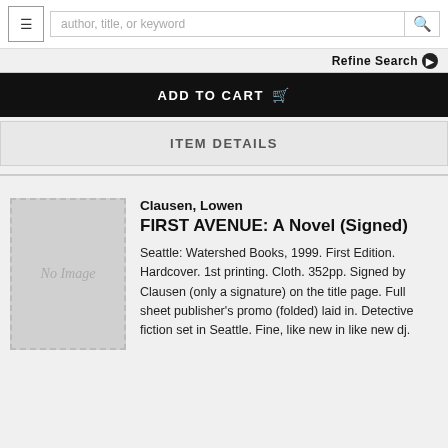author, title, or keyword
Refine Search
ADD TO CART
ITEM DETAILS
[Figure (illustration): No Image placeholder for book cover]
Clausen, Lowen
FIRST AVENUE: A Novel (Signed)

Seattle: Watershed Books, 1999. First Edition. Hardcover. 1st printing. Cloth. 352pp. Signed by Clausen (only a signature) on the title page. Full sheet publisher's promo (folded) laid in. Detective fiction set in Seattle. Fine, like new in like new dj.